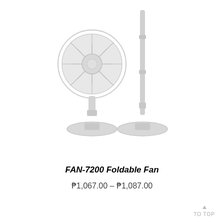[Figure (photo): Product photo of FAN-7200 Foldable Fan showing two configurations: a compact folded version on the left with visible fan blades and a disc-shaped base, and an extended tall version on the right with a long pole and the same disc-shaped base. Both are white/light gray in color on a white background.]
FAN-7200 Foldable Fan
₱1,067.00 – ₱1,087.00
TO TOP